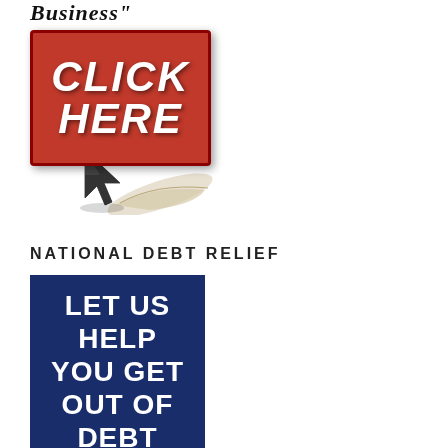Business"
[Figure (illustration): A red 'CLICK HERE' button with bold white italic text, with a computer cursor arrow and curling paper/dollar bill graphic beneath it]
NATIONAL DEBT RELIEF
[Figure (illustration): Dark blue banner with white bold text reading 'LET US HELP YOU GET OUT OF DEBT' and italic text 'We provide clients with' at the bottom]